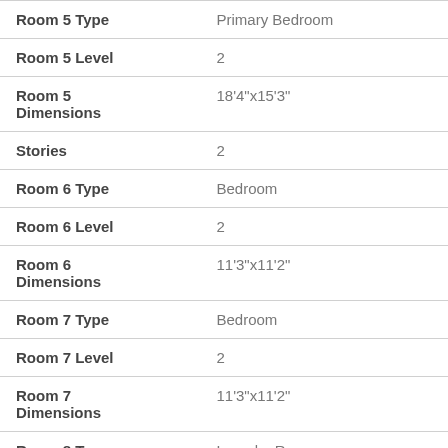| Field | Value |
| --- | --- |
| Room 5 Type | Primary Bedroom |
| Room 5 Level | 2 |
| Room 5 Dimensions | 18'4"x15'3" |
| Stories | 2 |
| Room 6 Type | Bedroom |
| Room 6 Level | 2 |
| Room 6 Dimensions | 11'3"x11'2" |
| Room 7 Type | Bedroom |
| Room 7 Level | 2 |
| Room 7 Dimensions | 11'3"x11'2" |
| Room 8 Type | Laundry Room |
| Room 8 Level | 2 |